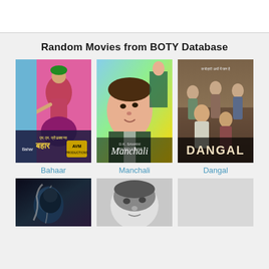Random Movies from BOTY Database
[Figure (photo): Movie poster for Bahaar - colorful Bollywood poster with a dancing woman in traditional Indian attire, pink and blue background, Hindi text and AVM Productions logo]
Bahaar
[Figure (photo): Movie poster for Manchali - vintage Bollywood poster showing a man's face prominently and a woman in background, colorful illustrated style, title reads Manchali]
Manchali
[Figure (photo): Movie poster for Dangal - shows group of young men/boys posed together in dramatic lighting, title DANGAL in large letters]
Dangal
[Figure (photo): Movie poster - dark atmospheric image, appears to show a person or creature in dark tones]
[Figure (photo): Movie poster - black and white image showing a woman's face in close-up]
[Figure (photo): Movie poster placeholder - light gray/white rectangle]